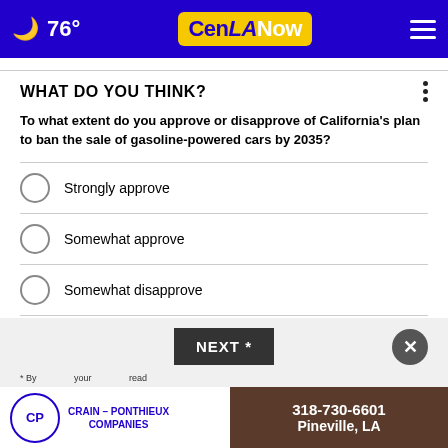🌙 76° CenLANow ≡
WHAT DO YOU THINK?
To what extent do you approve or disapprove of California's plan to ban the sale of gasoline-powered cars by 2035?
Strongly approve
Somewhat approve
Somewhat disapprove
Strongly disapprove
Other / No opinion
NEXT *
* By ... your ... read...
[Figure (logo): Crain - Ponthieux Companies advertisement logo with CP circle logo]
318-730-6601 Pineville, LA